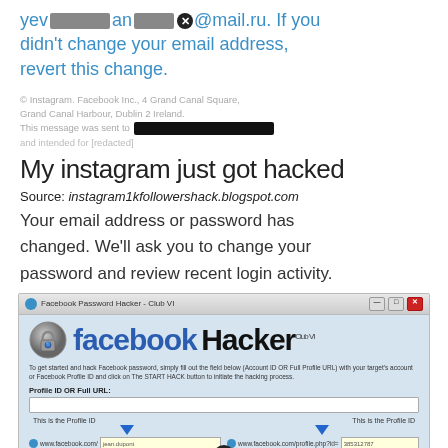yev[redacted]an[redacted]@mail.ru. If you didn't change your email address, revert this change.
© Instagram. Facebook Inc., 4 Grand Canal Square, Grand Canal Harbour, Dublin 2 Ireland. This message was sent to [redacted] and intended for [redacted]
My instagram just got hacked
Source: instagram1kfollowershack.blogspot.com
Your email address or password has changed. We'll ask you to change your password and review recent login activity.
[Figure (screenshot): Screenshot of a 'Facebook Password Hacker - Club VI' application window showing a padlock logo, the text 'facebook Hacker Club VI', fields for Profile ID or Full URL, and example facebook.com URLs with a close button overlay.]